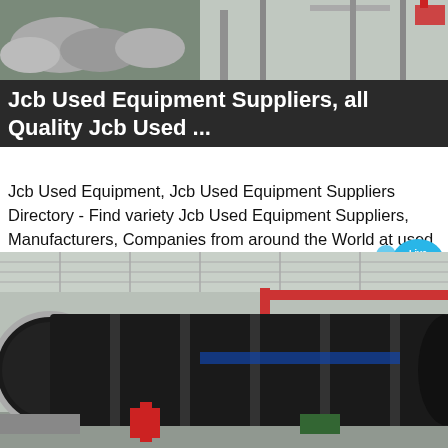[Figure (photo): Top photo showing construction/quarry site with rocks and equipment in background]
Jcb Used Equipment Suppliers, all Quality Jcb Used ...
Jcb Used Equipment, Jcb Used Equipment Suppliers Directory - Find variety Jcb Used Equipment Suppliers, Manufacturers, Companies from around the World at used heavy equipment,physical therapy equipment used,used bakery equipment in china, Excavators
[Figure (photo): Large industrial cylindrical drum/rotary kiln inside a factory warehouse with red crane structure visible in background]